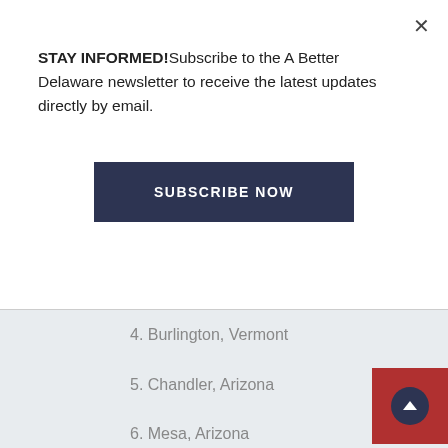STAY INFORMED!Subscribe to the A Better Delaware newsletter to receive the latest updates directly by email.
SUBSCRIBE NOW
4. Burlington, Vermont
5. Chandler, Arizona
6. Mesa, Arizona
7. Glendale, Arizona
8. South Burlington, Vermont
9. Peoria, Arizona